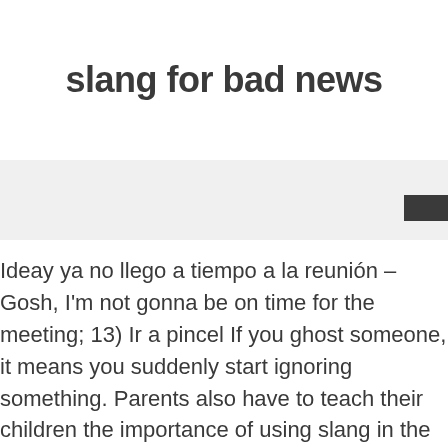slang for bad news
Ideay ya no llego a tiempo a la reunión – Gosh, I'm not gonna be on time for the meeting; 13) Ir a pincel If you ghost someone, it means you suddenly start ignoring something. Parents also have to teach their children the importance of using slang in the appropriate contexts. 7. It doesn't sound all that bad … And you've got such a bright future ahead of you! – … be bad news phrase. He's bad news . In a time where negativity and bad news spews like an open firehose from the Internet, it makes sense that people are craving a little space